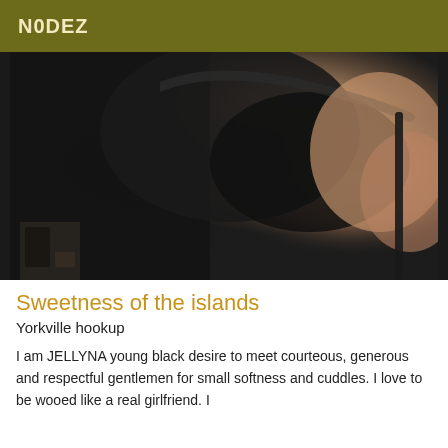N0DEZ
[Figure (photo): Close-up photo of a person wearing a black lace bra and dark fabric clothing]
Sweetness of the islands
Yorkville hookup
I am JELLYNA young black desire to meet courteous, generous and respectful gentlemen for small softness and cuddles. I love to be wooed like a real girlfriend. I